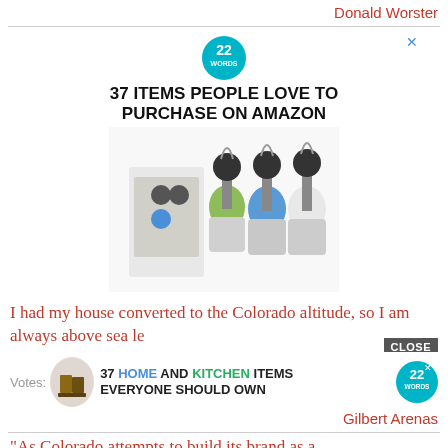Donald Worster
[Figure (infographic): Advertisement: '37 ITEMS PEOPLE LOVE TO PURCHASE ON AMAZON' with 22 Words logo and product image of travel bottles with carabiner clips]
I had my house converted to the Colorado altitude, so I am always above sea le
[Figure (infographic): Advertisement banner: '37 HOME AND KITCHEN ITEMS EVERYONE SHOULD OWN' with 22 Words logo and food/kitchen image thumbnail, Votes label]
Gilbert Arenas
"As Colorado attempts to build its brand as a